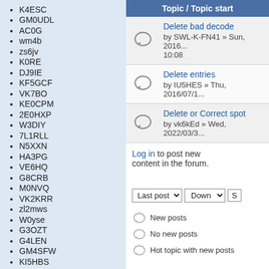K4ESC
GM0UDL
AC0G
wm4b
zs6jv
K0RE
DJ9IE
KF5GCF
VK7BO
KE0CPM
2E0HXP
W3DIY
7L1RLL
N5XXN
HA3PG
VE6HQ
G8CRB
M0NVQ
VK2KRR
zl2mws
W0yse
G3OZT
G4LEN
GM4SFW
KI5HBS
KI6JL
Topic / Topic start
Delete bad decode by SWL-K-FN41 » Sun, 2016... 10:08
Delete entries by IU5HES » Thu, 2016/07/1...
Delete or Correct spot by vk6kEd » Wed, 2022/03/3...
Log in to post new content in the forum.
Last post
New posts
No new posts
Hot topic with new posts